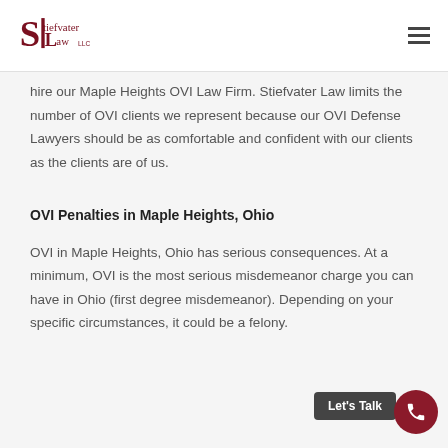Stiefvater Law LLC
hire our Maple Heights OVI Law Firm. Stiefvater Law limits the number of OVI clients we represent because our OVI Defense Lawyers should be as comfortable and confident with our clients as the clients are of us.
OVI Penalties in Maple Heights, Ohio
OVI in Maple Heights, Ohio has serious consequences. At a minimum, OVI is the most serious misdemeanor charge you can have in Ohio (first degree misdemeanor). Depending on your specific circumstances, it could be a felony.